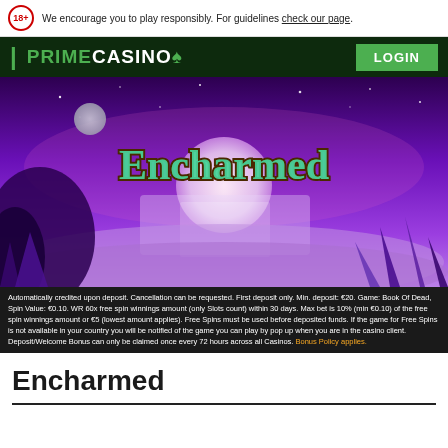We encourage you to play responsibly. For guidelines check our page.
[Figure (screenshot): Prime Casino navigation bar with green LOGIN button on dark green background]
[Figure (illustration): Encharmed slot game hero banner — purple fantasy landscape with moon, waterfall, crystals and stylized gold-and-teal 'Encharmed' title text]
Automatically credited upon deposit. Cancellation can be requested. First deposit only. Min. deposit: €20. Game: Book Of Dead, Spin Value: €0.10. WR 60x free spin winnings amount (only Slots count) within 30 days. Max bet is 10% (min €0.10) of the free spin winnings amount or €5 (lowest amount applies). Free Spins must be used before deposited funds. If the game for Free Spins is not available in your country you will be notified of the game you can play by pop up when you are in the casino client. Deposit/Welcome Bonus can only be claimed once every 72 hours across all Casinos. Bonus Policy applies.
Encharmed